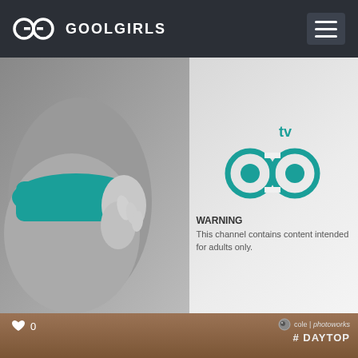GOOLGIRLS
[Figure (photo): Website screenshot showing a GOOLGIRLS branded page header on dark background with hamburger menu, a main content block showing a grayscale photo of a person in teal underwear on the left and a teal GoolTV logo with adult content warning on the right, and a bottom card showing a portrait photo with heart/like icon showing 0 and a #DAYTOP watermark.]
WARNING
This channel contains content intended for adults only.